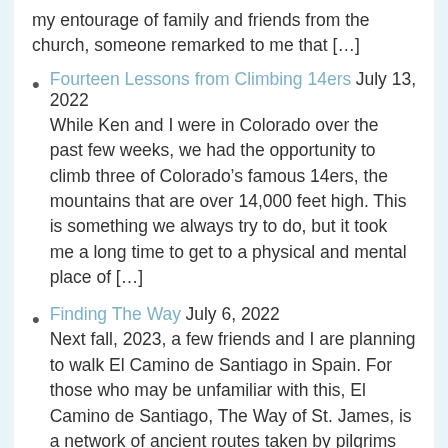…my entourage of family and friends from the church, someone remarked to me that […]
Fourteen Lessons from Climbing 14ers July 13, 2022 While Ken and I were in Colorado over the past few weeks, we had the opportunity to climb three of Colorado's famous 14ers, the mountains that are over 14,000 feet high. This is something we always try to do, but it took me a long time to get to a physical and mental place of […]
Finding The Way July 6, 2022 Next fall, 2023, a few friends and I are planning to walk El Camino de Santiago in Spain. For those who may be unfamiliar with this, El Camino de Santiago, The Way of St. James, is a network of ancient routes taken by pilgrims wishing to make the same journey…